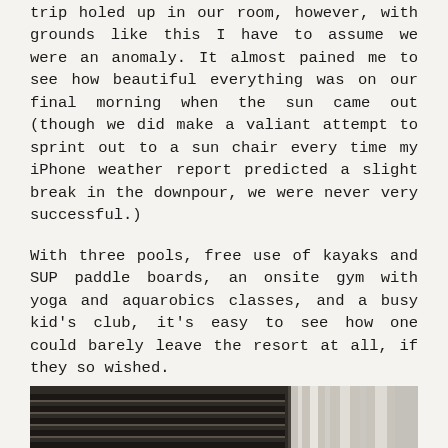trip holed up in our room, however, with grounds like this I have to assume we were an anomaly. It almost pained me to see how beautiful everything was on our final morning when the sun came out (though we did make a valiant attempt to sprint out to a sun chair every time my iPhone weather report predicted a slight break in the downpour, we were never very successful.)
With three pools, free use of kayaks and SUP paddle boards, an onsite gym with yoga and aquarobics classes, and a busy kid's club, it's easy to see how one could barely leave the resort at all, if they so wished.
[Figure (photo): Bottom portion of a photo showing what appears to be a cabana or outdoor structure with slatted roof/ceiling and white curtains or draping visible]